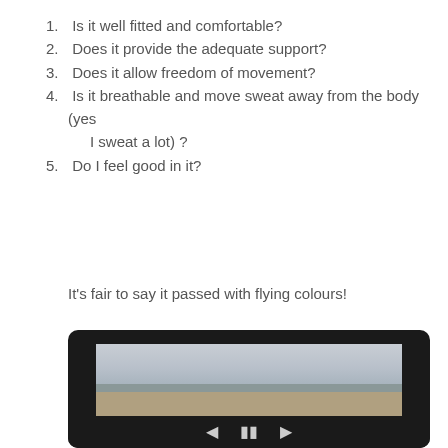1. Is it well fitted and comfortable?
2. Does it provide the adequate support?
3. Does it allow freedom of movement?
4. Is it breathable and move sweat away from the body (yes I sweat a lot) ?
5. Do I feel good in it?
It’s fair to say it passed with flying colours!
[Figure (photo): A woman running on a pebble beach wearing workout clothes (black jacket, sports bra, yellow-trimmed shorts), shown inside a dark-bordered video player frame with playback controls at the bottom.]